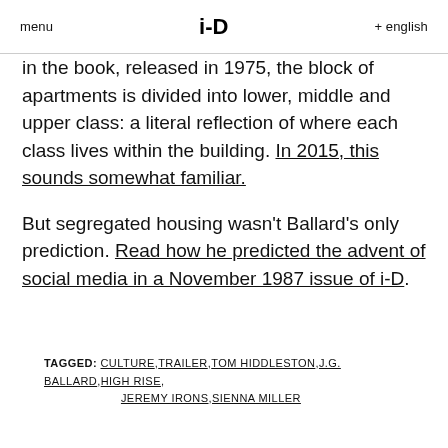menu   i-D   + english
in the book, released in 1975, the block of apartments is divided into lower, middle and upper class: a literal reflection of where each class lives within the building. In 2015, this sounds somewhat familiar.
But segregated housing wasn't Ballard's only prediction. Read how he predicted the advent of social media in a November 1987 issue of i-D.
TAGGED: CULTURE, TRAILER, TOM HIDDLESTON, J.G. BALLARD, HIGH RISE, JEREMY IRONS, SIENNA MILLER